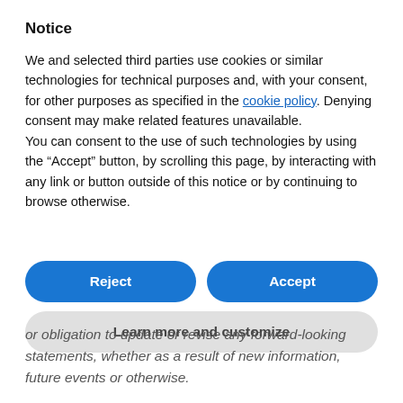Notice
We and selected third parties use cookies or similar technologies for technical purposes and, with your consent, for other purposes as specified in the cookie policy. Denying consent may make related features unavailable.
You can consent to the use of such technologies by using the “Accept” button, by scrolling this page, by interacting with any link or button outside of this notice or by continuing to browse otherwise.
[Figure (other): Two buttons side by side: 'Reject' (blue, rounded) and 'Accept' (blue, rounded), followed by a full-width 'Learn more and customize' button (gray, rounded)]
or obligation to update or revise any forward-looking statements, whether as a result of new information, future events or otherwise.